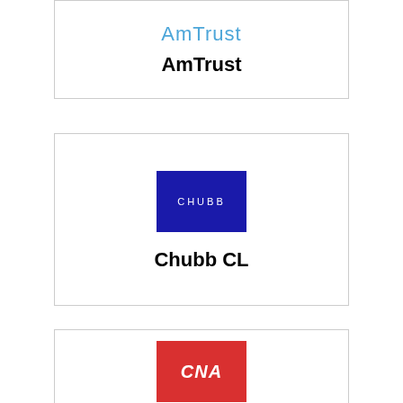[Figure (logo): AmTrust logo - stylized text in blue reading 'AmTrust']
AmTrust
[Figure (logo): Chubb logo - white text 'CHUBB' on dark blue rectangular background]
Chubb CL
[Figure (logo): CNA logo - white italic bold text 'CNA' on red rectangular background]